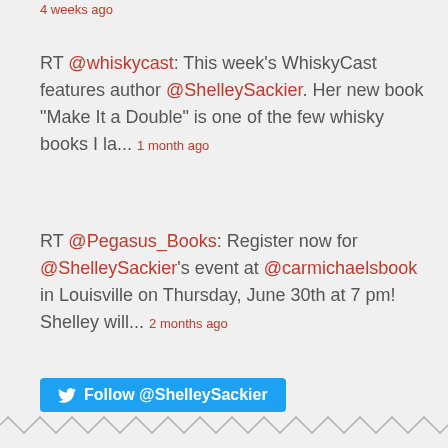4 weeks ago
RT @whiskycast: This week's WhiskyCast features author @ShelleySackier. Her new book "Make It a Double" is one of the few whisky books I la... 1 month ago
RT @Pegasus_Books: Register now for @ShelleySackier's event at @carmichaelsbook in Louisville on Thursday, June 30th at 7 pm! Shelley will... 2 months ago
Follow @ShelleySackier